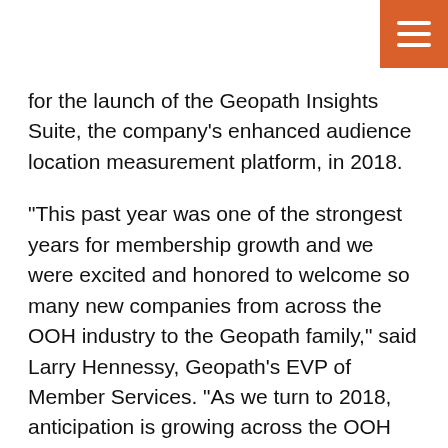[Figure (other): Orange hamburger menu button in top-right corner]
for the launch of the Geopath Insights Suite, the company's enhanced audience location measurement platform, in 2018.
"This past year was one of the strongest years for membership growth and we were excited and honored to welcome so many new companies from across the OOH industry to the Geopath family," said Larry Hennessy, Geopath's EVP of Member Services. "As we turn to 2018, anticipation is growing across the OOH industry for the Insights Suite, which will elevate OOH by providing unprecedented planning, tracking and measurement capabilities."
Of the new members joining this past year, 33 are OOH media owners from across the country. Their respective